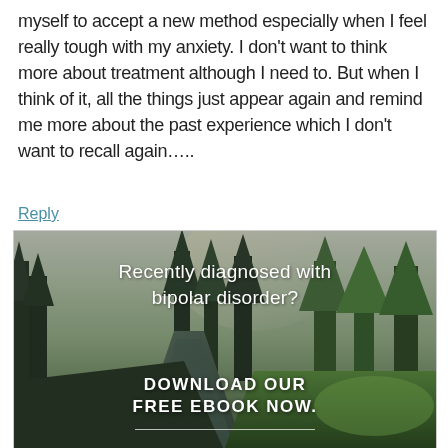myself to accept a new method especially when I feel really tough with my anxiety. I don't want to think more about treatment although I need to. But when I think of it, all the things just appear again and remind me more about the past experience which I don't want to recall again…..
Reply
[Figure (photo): Advertisement image showing a forest and river scene with text overlay reading 'Recently diagnosed with bipolar disorder? DOWNLOAD OUR FREE EBOOK NOW.' with an underline beneath the call to action.]
advertisement